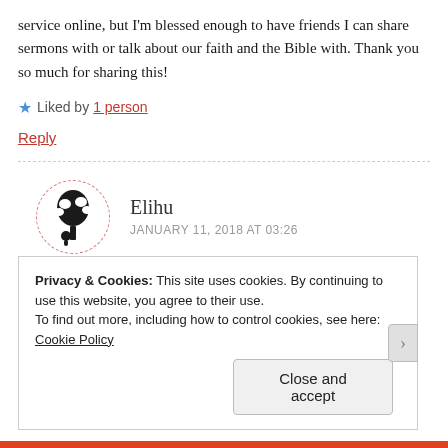service online, but I'm blessed enough to have friends I can share sermons with or talk about our faith and the Bible with. Thank you so much for sharing this!
★ Liked by 1 person
Reply
Elihu
JANUARY 11, 2018 AT 03:26
Privacy & Cookies: This site uses cookies. By continuing to use this website, you agree to their use.
To find out more, including how to control cookies, see here: Cookie Policy
Close and accept